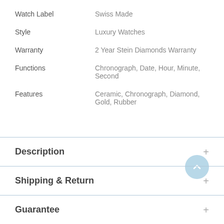| Attribute | Value |
| --- | --- |
| Watch Label | Swiss Made |
| Style | Luxury Watches |
| Warranty | 2 Year Stein Diamonds Warranty |
| Functions | Chronograph, Date, Hour, Minute, Second |
| Features | Ceramic, Chronograph, Diamond, Gold, Rubber |
Description
Shipping & Return
Guarantee